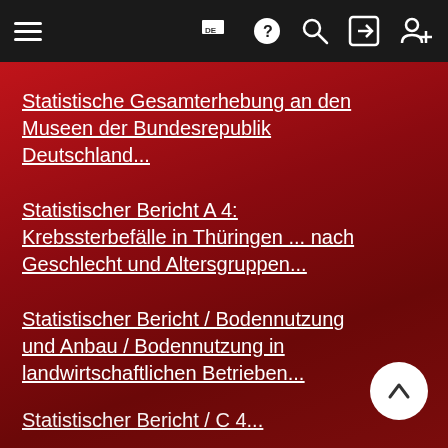Navigation bar with hamburger menu and icons: flag (DE), help, search, login, register
Statistische Gesamterhebung an den Museen der Bundesrepublik Deutschland...
Statistischer Bericht A 4: Krebssterbefälle in Thüringen ... nach Geschlecht und Altersgruppen...
Statistischer Bericht / Bodennutzung und Anbau / Bodennutzung in landwirtschaftlichen Betrieben...
Statistischer Bericht / C 4...